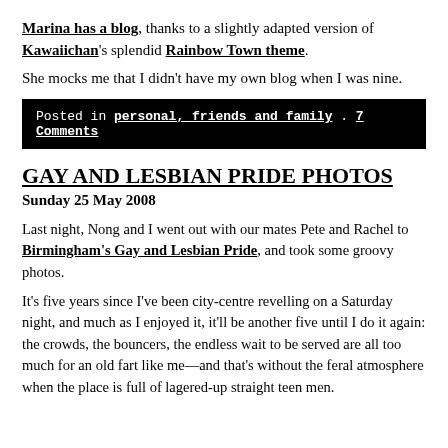Marina has a blog, thanks to a slightly adapted version of Kawaiichan's splendid Rainbow Town theme.
She mocks me that I didn't have my own blog when I was nine.
Posted in personal, friends and family . 7 Comments
GAY AND LESBIAN PRIDE PHOTOS
Sunday 25 May 2008
Last night, Nong and I went out with our mates Pete and Rachel to Birmingham's Gay and Lesbian Pride, and took some groovy photos.
It's five years since I've been city-centre revelling on a Saturday night, and much as I enjoyed it, it'll be another five until I do it again: the crowds, the bouncers, the endless wait to be served are all too much for an old fart like me—and that's without the feral atmosphere when the place is full of lagered-up straight teen men.